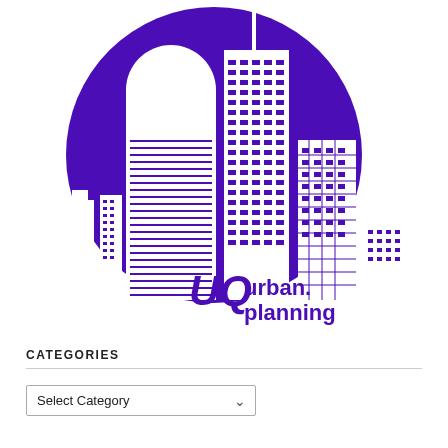[Figure (logo): UQ Urban Planning logo: a purple circle with white city skyline silhouette buildings, and below the buildings text reading 'UQ urban. planning' in purple with stylized font]
CATEGORIES
Select Category